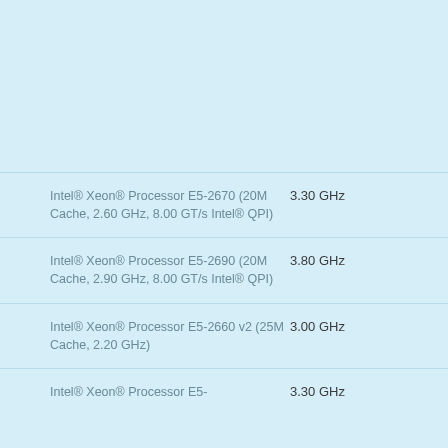| Processor | Max Turbo Frequency |
| --- | --- |
| Intel® Xeon® Processor E5-2670 (20M Cache, 2.60 GHz, 8.00 GT/s Intel® QPI) | 3.30 GHz |
| Intel® Xeon® Processor E5-2690 (20M Cache, 2.90 GHz, 8.00 GT/s Intel® QPI) | 3.80 GHz |
| Intel® Xeon® Processor E5-2660 v2 (25M Cache, 2.20 GHz) | 3.00 GHz |
| Intel® Xeon® Processor E5- | 3.30 GHz |